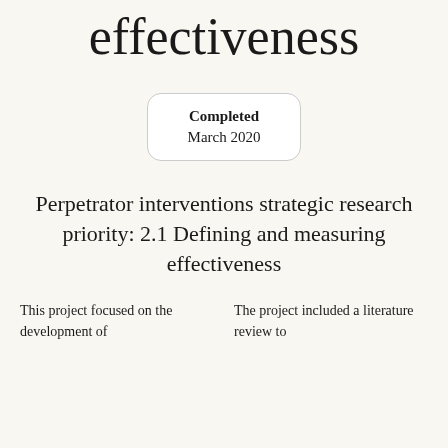effectiveness
Completed
March 2020
Perpetrator interventions strategic research priority: 2.1 Defining and measuring effectiveness
This project focused on the development of
The project included a literature review to